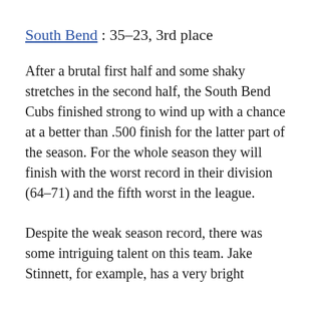South Bend : 35-23, 3rd place
After a brutal first half and some shaky stretches in the second half, the South Bend Cubs finished strong to wind up with a chance at a better than .500 finish for the latter part of the season. For the whole season they will finish with the worst record in their division (64-71) and the fifth worst in the league.
Despite the weak season record, there was some intriguing talent on this team. Jake Stinnett, for example, has a very bright